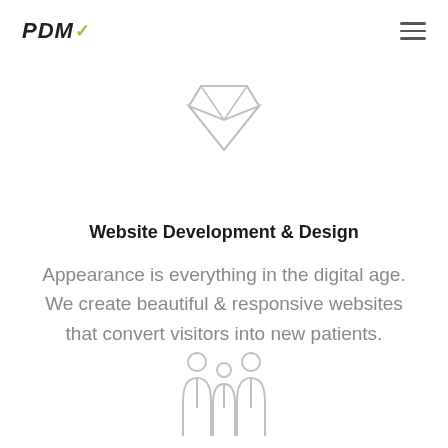PDM
[Figure (illustration): Diamond/gem icon outline in light gray]
Website Development & Design
Appearance is everything in the digital age. We create beautiful & responsive websites that convert visitors into new patients.
[Figure (illustration): Family icon showing two adults and a child, outline style in light gray]